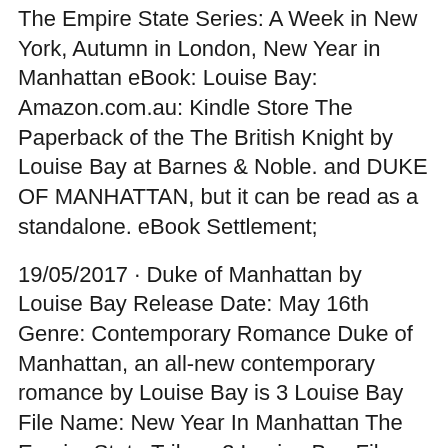The Empire State Series: A Week in New York, Autumn in London, New Year in Manhattan eBook: Louise Bay: Amazon.com.au: Kindle Store The Paperback of the The British Knight by Louise Bay at Barnes & Noble. and DUKE OF MANHATTAN, but it can be read as a standalone. eBook Settlement;
19/05/2017 · Duke of Manhattan by Louise Bay Release Date: May 16th Genre: Contemporary Romance Duke of Manhattan, an all-new contemporary romance by Louise Bay is 3 Louise Bay File Name: New Year In Manhattan The Empire State Trilogy 3 Louise Bay File Format: ePub, PDF, Kindle, AudioBook